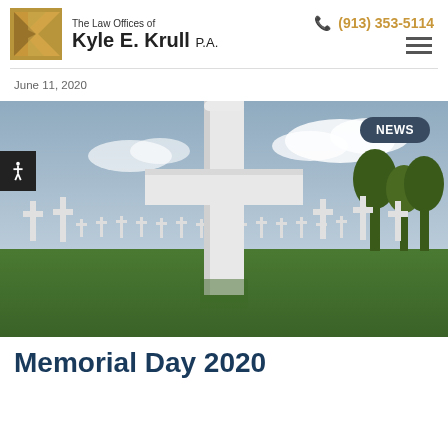The Law Offices of Kyle E. Krull P.A. | (913) 353-5114
June 11, 2020
[Figure (photo): Military cemetery with rows of white crosses on green grass, a large white cross in the foreground. Badge labeled NEWS in top right corner.]
Memorial Day 2020